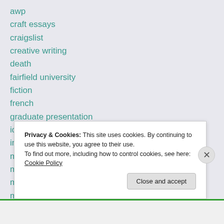awp
craft essays
craigslist
creative writing
death
fairfield university
fiction
french
graduate presentation
ideas
internships
mentor
mfa
money
music
Privacy & Cookies: This site uses cookies. By continuing to use this website, you agree to their use.
To find out more, including how to control cookies, see here: Cookie Policy
Close and accept